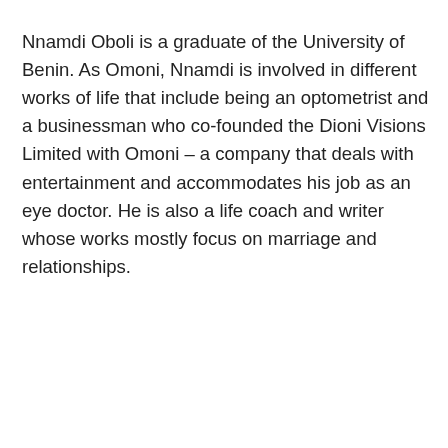Nnamdi Oboli is a graduate of the University of Benin. As Omoni, Nnamdi is involved in different works of life that include being an optometrist and a businessman who co-founded the Dioni Visions Limited with Omoni – a company that deals with entertainment and accommodates his job as an eye doctor. He is also a life coach and writer whose works mostly focus on marriage and relationships.